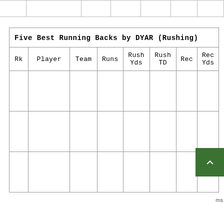|  |
| Rk | Player | Team | Runs | Rush Yds | Rush TD | Rec | Rec Yds |
| --- | --- | --- | --- | --- | --- | --- | --- |
|  |  |  |  |  |  |  |  |
|  |  |  |  |  |  |  |  |
|  |  |  |  |  |  |  |  |
|  |  |  |  |  |  |  |  |
|  |  |  |  |  |  |  |  |